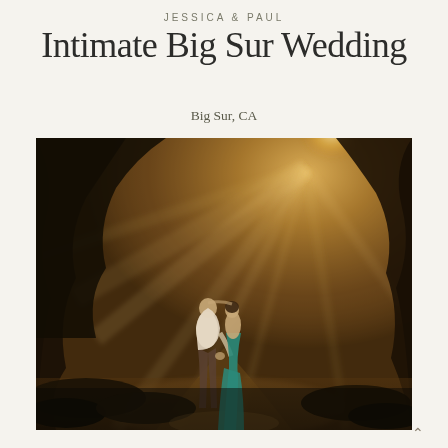JESSICA & PAUL
Intimate Big Sur Wedding
Big Sur, CA
[Figure (photo): A couple kissing on a forest path in Big Sur, California. Golden sunlight rays stream through the trees. The woman wears a teal/turquoise gown, the man wears a light shirt and dark pants. The scene has a warm, golden-hour tone with dramatic lens flare.]